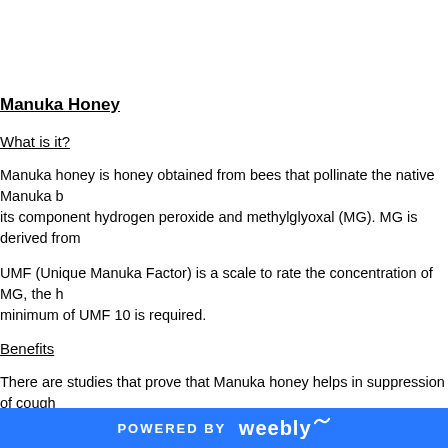Manuka Honey
What is it?
Manuka honey is honey obtained from bees that pollinate the native Manuka bush. its component hydrogen peroxide and methylglyoxal (MG). MG is derived from
UMF (Unique Manuka Factor) is a scale to rate the concentration of MG, the h minimum of UMF 10 is required.
Benefits
There are studies that prove that Manuka honey helps in suppression of cough
Many believed that Manuka honey helps in conditions like asthma, hay fever, i
POWERED BY weebly